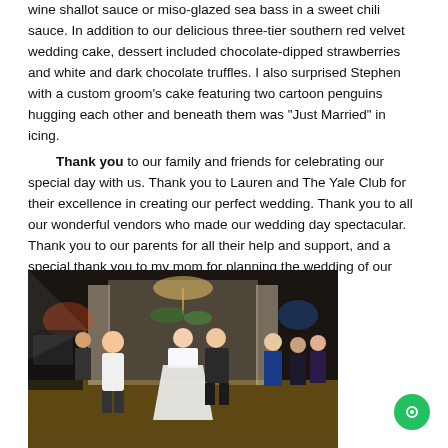our guests were offered pan-seared filet mignon in a red wine shallot sauce or miso-glazed sea bass in a sweet chili sauce. In addition to our delicious three-tier southern red velvet wedding cake, dessert included chocolate-dipped strawberries and white and dark chocolate truffles. I also surprised Stephen with a custom groom's cake featuring two cartoon penguins hugging each other and beneath them was "Just Married" in icing.
    Thank you to our family and friends for celebrating our special day with us. Thank you to Lauren and The Yale Club for their excellence in creating our perfect wedding. Thank you to all our wonderful vendors who made our wedding day spectacular. Thank you to our parents for all their help and support, and a special thank you to my mom for planning the wedding of our dreams.
[Figure (photo): Wedding reception dance floor photo showing the bride in a white dress dancing with guests, with ornate venue interior visible in background including chandeliers and white columns.]